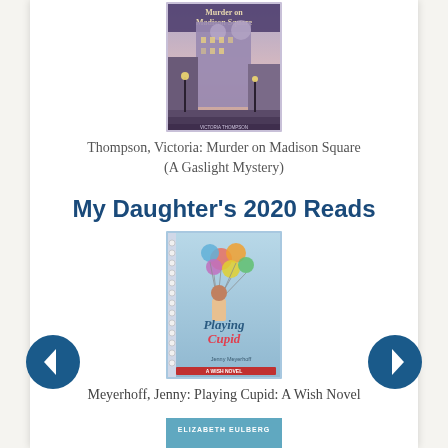[Figure (illustration): Book cover for 'Murder on Madison Square' – a cityscape at dusk with historic buildings and street lamps]
Thompson, Victoria: Murder on Madison Square (A Gaslight Mystery)
My Daughter's 2020 Reads
[Figure (illustration): Book cover for 'Playing Cupid' – a light blue cover with colorful balloons and the title text]
Meyerhoff, Jenny: Playing Cupid: A Wish Novel